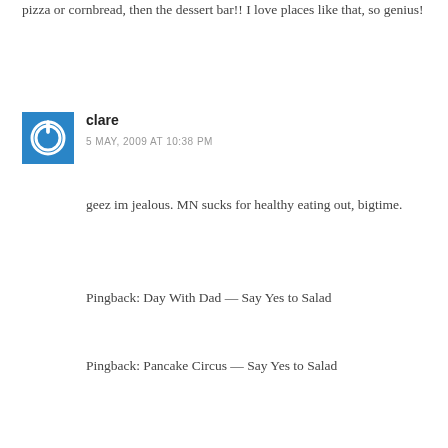pizza or cornbread, then the dessert bar!! I love places like that, so genius!
[Figure (illustration): Blue square avatar icon with white power button symbol]
clare
5 MAY, 2009 AT 10:38 PM
geez im jealous. MN sucks for healthy eating out, bigtime.
Pingback: Day With Dad — Say Yes to Salad
Pingback: Pancake Circus — Say Yes to Salad